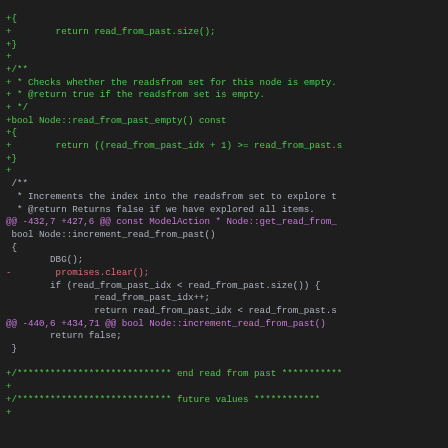[Figure (screenshot): Code diff view showing C++ source code with green added lines, red removed lines, and magenta diff hunk headers on a dark background]